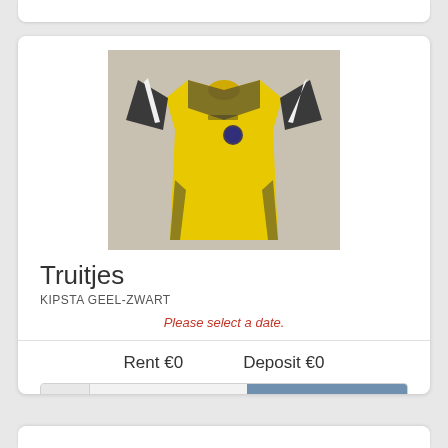[Figure (photo): Yellow and black/dark grey sports jersey (Kipsta brand) laid flat on a light surface, showing short sleeves with white stripes on shoulders]
Truitjes
KIPSTA GEEL-ZWART
Please select a date.
Rent €0   Deposit €0
#  Amount  Add